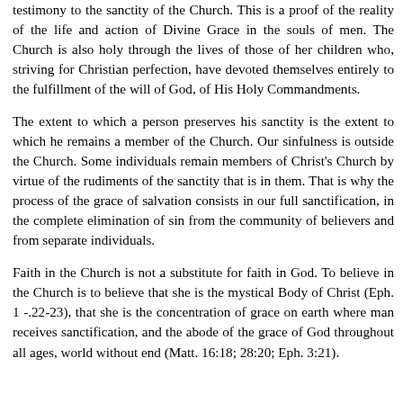testimony to the sanctity of the Church. This is a proof of the reality of the life and action of Divine Grace in the souls of men. The Church is also holy through the lives of those of her children who, striving for Christian perfection, have devoted themselves entirely to the fulfillment of the will of God, of His Holy Commandments.
The extent to which a person preserves his sanctity is the extent to which he remains a member of the Church. Our sinfulness is outside the Church. Some individuals remain members of Christ's Church by virtue of the rudiments of the sanctity that is in them. That is why the process of the grace of salvation consists in our full sanctification, in the complete elimination of sin from the community of believers and from separate individuals.
Faith in the Church is not a substitute for faith in God. To believe in the Church is to believe that she is the mystical Body of Christ (Eph. 1 -.22-23), that she is the concentration of grace on earth where man receives sanctification, and the abode of the grace of God throughout all ages, world without end (Matt. 16:18; 28:20; Eph. 3:21).